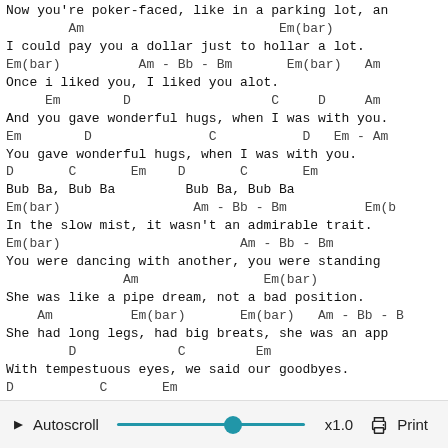Now you're poker-faced, like in a parking lot, an
Am                         Em(bar)
I could pay you a dollar just to hollar a lot.
Em(bar)          Am - Bb - Bm       Em(bar)   Am
Once i liked you, I liked you alot.
Em        D                  C     D     Am
And you gave wonderful hugs, when I was with you.
Em        D               C           D   Em - Am
You gave wonderful hugs, when I was with you.
D       C       Em    D       C       Em
Bub Ba, Bub Ba         Bub Ba, Bub Ba
Em(bar)                 Am - Bb - Bm          Em(b
In the slow mist, it wasn't an admirable trait.
Em(bar)                       Am - Bb - Bm
You were dancing with another, you were standing
Am                Em(bar)
She was like a pipe dream, not a bad position.
Am          Em(bar)       Em(bar)   Am - Bb - B
She had long legs, had big breats, she was an app
D             C         Em
With tempestuous eyes, we said our goodbyes.
D           C       Em
Pulse stopped, was petrified.
D           C      Em
I saw you as you sat down and cried.
▶ Autoscroll  ————————●————————  x1.0  🖶 Print